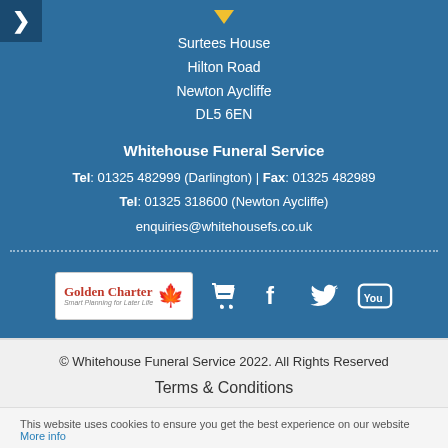Surtees House
Hilton Road
Newton Aycliffe
DL5 6EN
Whitehouse Funeral Service
Tel: 01325 482999 (Darlington) | Fax: 01325 482989
Tel: 01325 318600 (Newton Aycliffe)
enquiries@whitehousefs.co.uk
[Figure (logo): Golden Charter Smart Planning for Later Life logo, shopping cart icon, Facebook icon, Twitter icon, YouTube icon]
© Whitehouse Funeral Service 2022. All Rights Reserved
Terms & Conditions
This website uses cookies to ensure you get the best experience on our website More info
Got it!